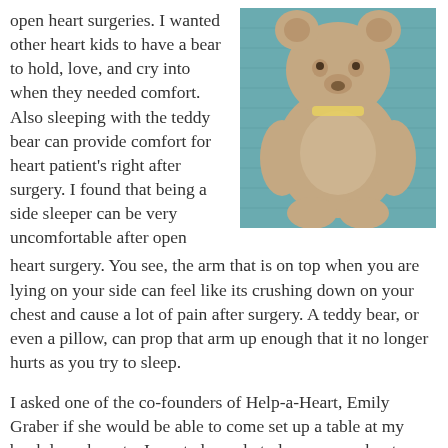open heart surgeries. I wanted other heart kids to have a bear to hold, love, and cry into when they needed comfort. Also sleeping with the teddy bear can provide comfort for heart patient's right after surgery. I found that being a side sleeper can be very uncomfortable after open heart surgery. You see, the arm that is on top when you are lying on your side can feel like its crushing down on your chest and cause a lot of pain after surgery. A teddy bear, or even a pillow, can prop that arm up enough that it no longer hurts as you try to sleep.
[Figure (photo): A brown teddy bear sitting on a teal/blue knitted blanket or surface, photographed from above at an angle.]
I asked one of the co-founders of Help-a-Heart, Emily Graber if she would be able to come set up a table at my book launch party. I wanted people to learn more about Help-a-Heart and